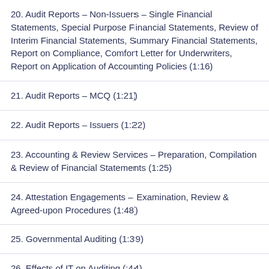20. Audit Reports – Non-Issuers – Single Financial Statements, Special Purpose Financial Statements, Review of Interim Financial Statements, Summary Financial Statements, Report on Compliance, Comfort Letter for Underwriters, Report on Application of Accounting Policies (1:16)
21. Audit Reports – MCQ (1:21)
22. Audit Reports – Issuers (1:22)
23. Accounting & Review Services – Preparation, Compilation & Review of Financial Statements (1:25)
24. Attestation Engagements – Examination, Review & Agreed-upon Procedures (1:48)
25. Governmental Auditing (1:39)
26. Effects of IT on Auditing (:44)
27. 2020 AICPA Released SIMs (1:06)